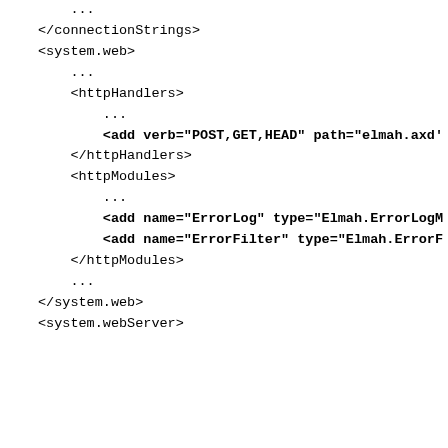...
</connectionStrings>
<system.web>
    ...
    <httpHandlers>
        ...
        <add verb="POST,GET,HEAD" path="elmah.axd'
    </httpHandlers>
    <httpModules>
        ...
        <add name="ErrorLog" type="Elmah.ErrorLogM
        <add name="ErrorFilter" type="Elmah.ErrorF
    </httpModules>
    ...
</system.web>
<system.webServer>